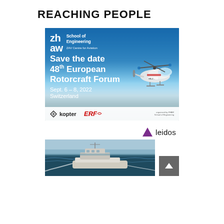REACHING PEOPLE
[Figure (advertisement): ZHAW School of Engineering advertisement for the 48th European Rotorcraft Forum, Save the date, Sept. 6–8, 2022, Switzerland, with helicopter image, kopter and ERF logos]
[Figure (advertisement): Leidos advertisement with logo (purple triangle + 'leidos' text) and aerial photo of a boat/vessel at sea]